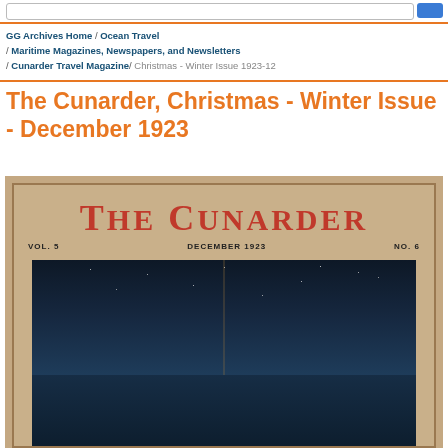GG Archives Home / Ocean Travel / Maritime Magazines, Newspapers, and Newsletters / Cunarder Travel Magazine / Christmas - Winter Issue 1923-12
The Cunarder, Christmas - Winter Issue - December 1923
[Figure (photo): Cover of The Cunarder magazine, Vol. 5, December 1923, No. 6. Tan/beige background with red block lettering title. Below the masthead is a dark night scene showing a ship's mast against a starry night sky over dark water.]